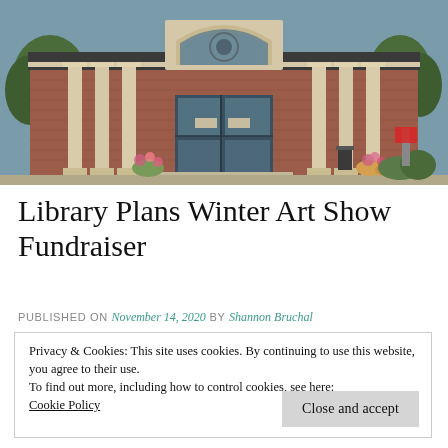[Figure (photo): Exterior photo of a brick library building with classical columns, arched window above entrance, glass doors, and landscaping in front.]
Library Plans Winter Art Show Fundraiser
PUBLISHED ON November 14, 2020 by Shannon Bruchal
Privacy & Cookies: This site uses cookies. By continuing to use this website, you agree to their use.
To find out more, including how to control cookies, see here:
Cookie Policy
Close and accept